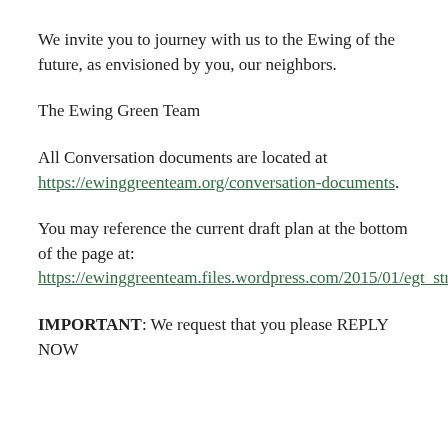We invite you to journey with us to the Ewing of the future, as envisioned by you, our neighbors.
The Ewing Green Team
All Conversation documents are located at https://ewinggreenteam.org/conversation-documents.
You may reference the current draft plan at the bottom of the page at: https://ewinggreenteam.files.wordpress.com/2015/01/egt_strategic_plan.pdf.
IMPORTANT: We request that you please REPLY NOW